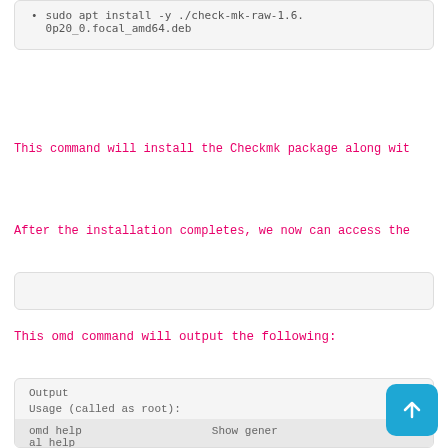sudo apt install -y ./check-mk-raw-1.6.0p20_0.focal_amd64.deb
This command will install the Checkmk package along wit
After the installation completes, we now can access the
This omd command will output the following:
Output

Usage (called as root):

omd help                    Show general help

...

General Options:
  -V <version>               set specific version
  ic version, useful in combination with upda